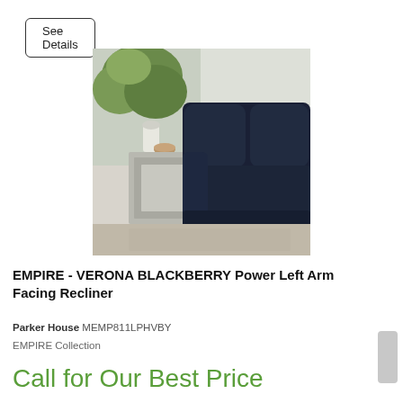See Details
[Figure (photo): Photo of a dark navy/black leather power recliner sectional sofa next to a modern light gray cube end table with a decorative vase and bowl on top, set in a bright living room with windows and greenery in the background.]
EMPIRE - VERONA BLACKBERRY Power Left Arm Facing Recliner
Parker House MEMP811LPHVBY
EMPIRE Collection
Call for Our Best Price